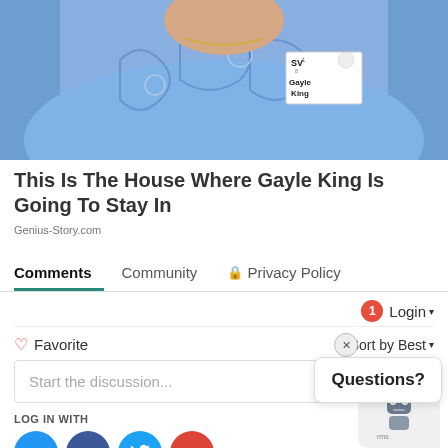[Figure (photo): Photo of a woman wearing a blue patterned top with a name badge reading 'SV Gayle King']
This Is The House Where Gayle King Is Going To Stay In
Genius-Story.com
Comments  Community  🔒 Privacy Policy
🔔 1  Login ▾
♡ Favorite  Sort by Best ▾
Start the discussion...
Questions?
LOG IN WITH
[Figure (logo): Social login icons: Disqus (D), Facebook (f), Twitter bird, Google (G)]